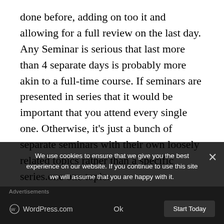done before, adding on too it and allowing for a full review on the last day. Any Seminar is serious that last more than 4 separate days is probably more akin to a full-time course. If seminars are presented in series that it would be important that you attend every single one. Otherwise, it's just a bunch of separate seminars with their own loosely related topics rather than a specific series.one one topic.
Level of Seminar
The level of the seminar should have been advertised prior to it. For example, is it for beginners with zero